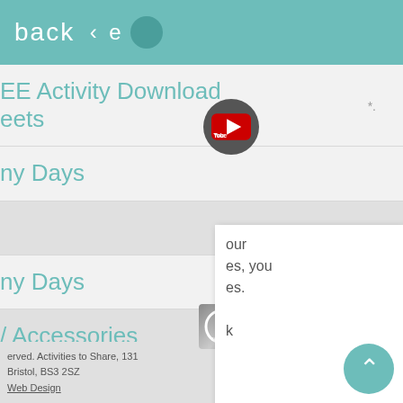back
EE Activity Download Sheets
ny Days
ny Days
Accessories
nting /Colouring
s for Care Home Craft ivities
Home Activity ination for People with ntia
niscence Therapy
our es, you es.
erved. Activities to Share, 131 Bristol, BS3 2SZ Web Design